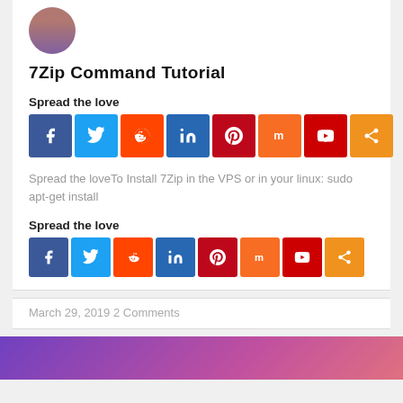[Figure (photo): Circular avatar photo of a man in a purple shirt]
7Zip Command Tutorial
Spread the love
[Figure (infographic): Social media share buttons: Facebook, Twitter, Reddit, LinkedIn, Pinterest, Mix, YouTube, Share]
Spread the loveTo Install 7Zip in the VPS or in your linux: sudo apt-get install
Spread the love
[Figure (infographic): Social media share buttons: Facebook, Twitter, Reddit, LinkedIn, Pinterest, Mix, YouTube, Share]
March 29, 2019 2 Comments
[Figure (photo): Colorful banner image at the bottom of the page]